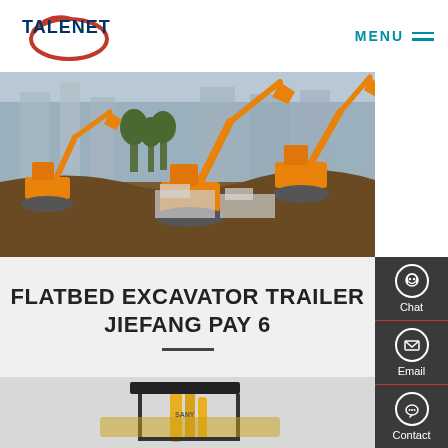TALENET | MENU
[Figure (photo): Construction site with multiple orange excavators digging earth with city buildings in background]
FLATBED EXCAVATOR TRAILER JIEFANG PAY 6
[Figure (photo): Yellow excavator arm and attachment detail viewed from below]